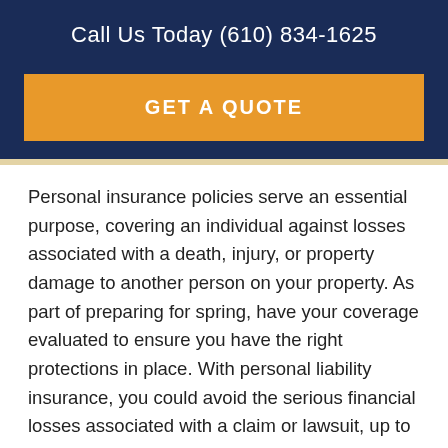Call Us Today (610) 834-1625
GET A QUOTE
Personal insurance policies serve an essential purpose, covering an individual against losses associated with a death, injury, or property damage to another person on your property. As part of preparing for spring, have your coverage evaluated to ensure you have the right protections in place. With personal liability insurance, you could avoid the serious financial losses associated with a claim or lawsuit, up to your policy limits. If a guest or visitor to your home is injured and you are held liable, personal insurance is a lifesaver. You can find